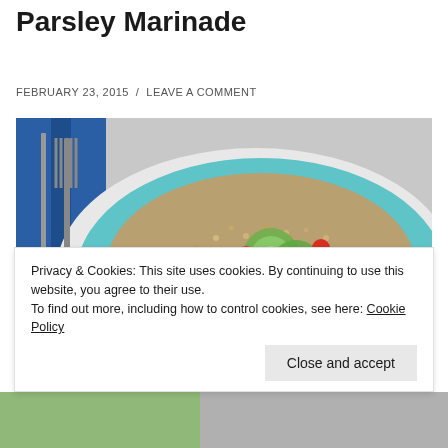Tabbouleh – Chicken with Garlic Parsley Marinade
FEBRUARY 23, 2015 / LEAVE A COMMENT
[Figure (photo): A teal/light blue plate with tabbouleh grain salad topped with sliced grilled chicken breast, cucumber slices, and cherry tomatoes. A fork and blue napkin are visible to the left.]
Privacy & Cookies: This site uses cookies. By continuing to use this website, you agree to their use.
To find out more, including how to control cookies, see here: Cookie Policy
Close and accept
[Figure (photo): Partial view of another food photo at the bottom of the page.]